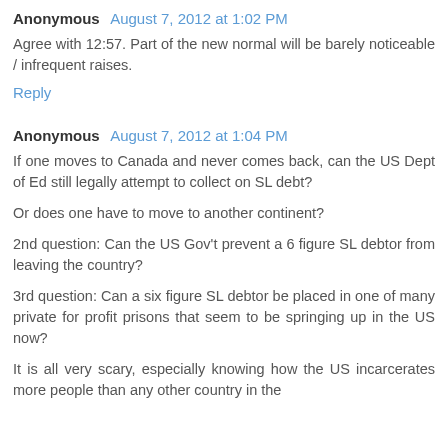Anonymous  August 7, 2012 at 1:02 PM
Agree with 12:57. Part of the new normal will be barely noticeable / infrequent raises.
Reply
Anonymous  August 7, 2012 at 1:04 PM
If one moves to Canada and never comes back, can the US Dept of Ed still legally attempt to collect on SL debt?
Or does one have to move to another continent?
2nd question: Can the US Gov't prevent a 6 figure SL debtor from leaving the country?
3rd question: Can a six figure SL debtor be placed in one of many private for profit prisons that seem to be springing up in the US now?
It is all very scary, especially knowing how the US incarcerates more people than any other country in the